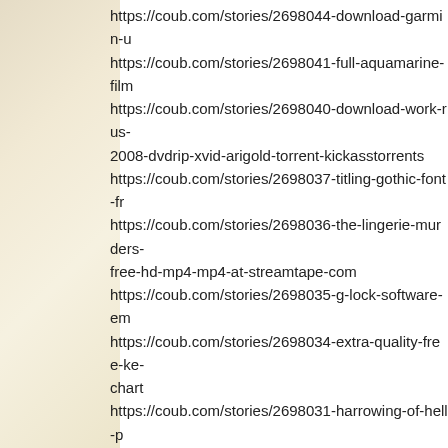https://coub.com/stories/2698044-download-garmin-u
https://coub.com/stories/2698041-full-aquamarine-film
https://coub.com/stories/2698040-download-work-rus-2008-dvdrip-xvid-arigold-torrent-kickasstorrents
https://coub.com/stories/2698037-titling-gothic-font-fr
https://coub.com/stories/2698036-the-lingerie-murders-free-hd-mp4-mp4-at-streamtape-com
https://coub.com/stories/2698035-g-lock-software-em
https://coub.com/stories/2698034-extra-quality-free-ke-chart
https://coub.com/stories/2698031-harrowing-of-hell-p
chrunce
(Monday, 17 January 2022 23:23)
chrunce dd23f8915e https://coub.com/stories/263009
https://coub.com/stories/2630089-sassone-stamp-cat
https://coub.com/stories/2630088-upd-ibd-home-stud